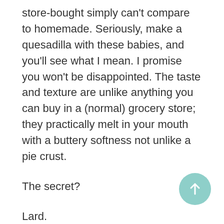store-bought simply can't compare to homemade. Seriously, make a quesadilla with these babies, and you'll see what I mean. I promise you won't be disappointed. The taste and texture are unlike anything you can buy in a (normal) grocery store; they practically melt in your mouth with a buttery softness not unlike a pie crust.
The secret?
Lard.
No, seriously.
We fo...